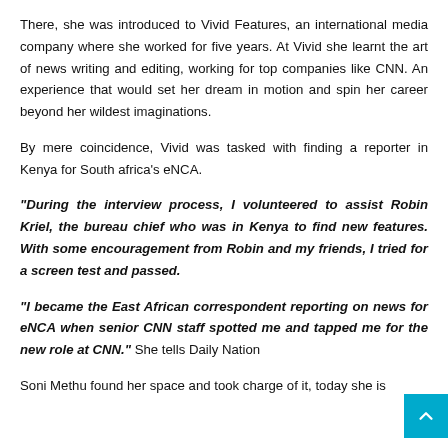There, she was introduced to Vivid Features, an international media company where she worked for five years. At Vivid she learnt the art of news writing and editing, working for top companies like CNN. An experience that would set her dream in motion and spin her career beyond her wildest imaginations.
By mere coincidence, Vivid was tasked with finding a reporter in Kenya for South africa's eNCA.
“During the interview process, I volunteered to assist Robin Kriel, the bureau chief who was in Kenya to find new features. With some encouragement from Robin and my friends, I tried for a screen test and passed.
“I became the East African correspondent reporting on news for eNCA when senior CNN staff spotted me and tapped me for the new role at CNN.” She tells Daily Nation
Soni Methu found her space and took charge of it, today she is